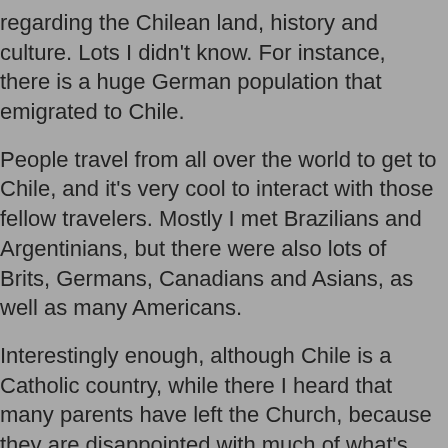regarding the Chilean land, history and culture. Lots I didn't know. For instance, there is a huge German population that emigrated to Chile.
People travel from all over the world to get to Chile, and it's very cool to interact with those fellow travelers. Mostly I met Brazilians and Argentinians, but there were also lots of Brits, Germans, Canadians and Asians, as well as many Americans.
Interestingly enough, although Chile is a Catholic country, while there I heard that many parents have left the Church, because they are disappointed with much of what's going on within the Church itself. The holidays remain important in relationship to the family, but not the Church. I'm sure many of you can relate.